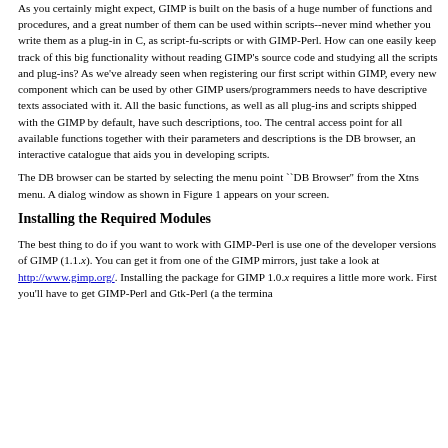As you certainly might expect, GIMP is built on the basis of a huge number of functions and procedures, and a great number of them can be used within scripts--never mind whether you write them as a plug-in in C, as script-fu-scripts or with GIMP-Perl. How can one easily keep track of this big functionality without reading GIMP's source code and studying all the scripts and plug-ins? As we've already seen when registering our first script within GIMP, every new component which can be used by other GIMP users/programmers needs to have descriptive texts associated with it. All the basic functions, as well as all plug-ins and scripts shipped with the GIMP by default, have such descriptions, too. The central access point for all available functions together with their parameters and descriptions is the DB browser, an interactive catalogue that aids you in developing scripts.
The DB browser can be started by selecting the menu point ``DB Browser'' from the Xtns menu. A dialog window as shown in Figure 1 appears on your screen.
Installing the Required Modules
The best thing to do if you want to work with GIMP-Perl is use one of the developer versions of GIMP (1.1.x). You can get it from one of the GIMP mirrors, just take a look at http://www.gimp.org/. Installing the package for GIMP 1.0.x requires a little more work. First you'll have to get GIMP-Perl and Gtk-Perl (a the termina...